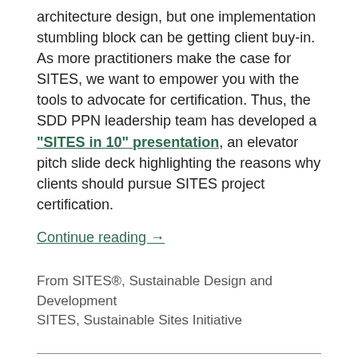architecture design, but one implementation stumbling block can be getting client buy-in. As more practitioners make the case for SITES, we want to empower you with the tools to advocate for certification. Thus, the SDD PPN leadership team has developed a "SITES in 10" presentation, an elevator pitch slide deck highlighting the reasons why clients should pursue SITES project certification.
Continue reading →
From SITES®, Sustainable Design and Development SITES, Sustainable Sites Initiative
ASLA's Federal Legislative Priorities: Climate Change,